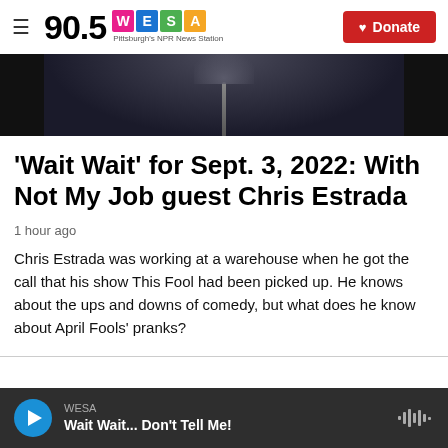90.5 WESA — Pittsburgh's NPR News Station | Donate
[Figure (photo): Partial photo of a person wearing a dark jacket with zipper, cropped at the shoulders/neck area, dark background]
'Wait Wait' for Sept. 3, 2022: With Not My Job guest Chris Estrada
1 hour ago
Chris Estrada was working at a warehouse when he got the call that his show This Fool had been picked up. He knows about the ups and downs of comedy, but what does he know about April Fools' pranks?
WESA | Wait Wait... Don't Tell Me!